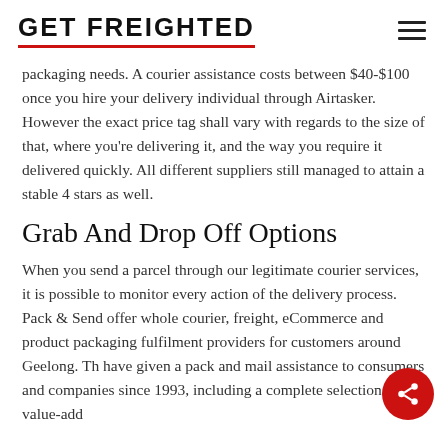GET FREIGHTED
packaging needs. A courier assistance costs between $40-$100 once you hire your delivery individual through Airtasker. However the exact price tag shall vary with regards to the size of that, where you're delivering it, and the way you require it delivered quickly. All different suppliers still managed to attain a stable 4 stars as well.
Grab And Drop Off Options
When you send a parcel through our legitimate courier services, it is possible to monitor every action of the delivery process. Pack & Send offer whole courier, freight, eCommerce and product packaging fulfilment providers for customers around Geelong. The have given a pack and mail assistance to consumers and companies since 1993, including a complete selection of value-add